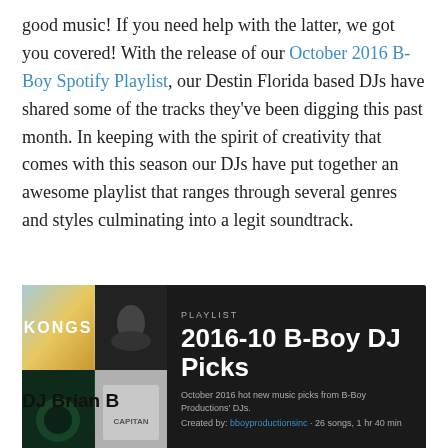good music! If you need help with the latter, we got you covered! With the release of our October 2016 B-Boy Spotify Playlist, our Destin Florida based DJs have shared some of the tracks they've been digging this past month. In keeping with the spirit of creativity that comes with this season our DJs have put together an awesome playlist that ranges through several genres and styles culminating into a legit soundtrack.
[Figure (screenshot): Spotify playlist card with dark background showing album art grid on left and playlist title '2016-10 B-Boy DJ Picks' on right with metadata]
DJ Brian B